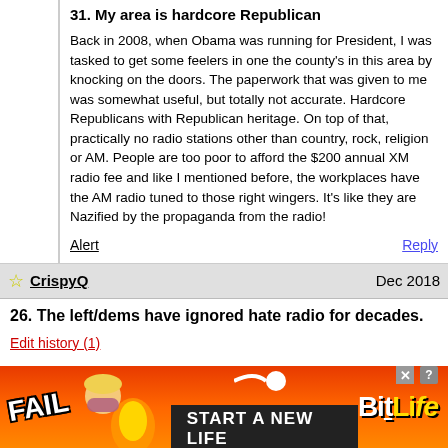31. My area is hardcore Republican
Back in 2008, when Obama was running for President, I was tasked to get some feelers in one the county's in this area by knocking on the doors. The paperwork that was given to me was somewhat useful, but totally not accurate. Hardcore Republicans with Republican heritage. On top of that, practically no radio stations other than country, rock, religion or AM. People are too poor to afford the $200 annual XM radio fee and like I mentioned before, the workplaces have the AM radio tuned to those right wingers. It's like they are Nazified by the propaganda from the radio!
Alert    Reply
CrispyQ    Dec 2018
26. The left/dems have ignored hate radio for decades.
Edit history (1)
They've basically conceded the AM airwaves to the radical right. A DUer once wrote that AM frequencies are great for broad, open regions, while FM frequencies are more suited to cities & urban areas. Too bad billionaires like that Tom Steyer guy don't put their money into a liberal AM station, even at a loss.
[Figure (illustration): BitLife advertisement banner with FAIL text and cartoon character, fire graphics, and START A NEW LIFE text on dark background]